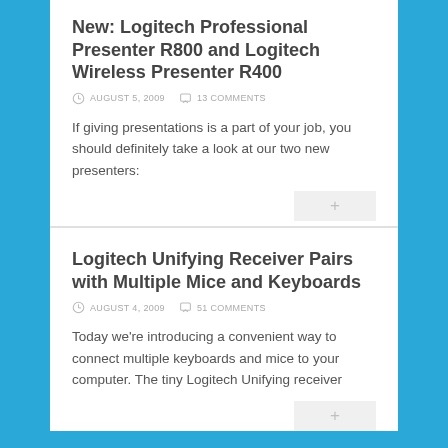New: Logitech Professional Presenter R800 and Logitech Wireless Presenter R400
AUGUST 5, 2009   13 COMMENTS
If giving presentations is a part of your job, you should definitely take a look at our two new presenters:
Logitech Unifying Receiver Pairs with Multiple Mice and Keyboards
AUGUST 4, 2009   51 COMMENTS
Today we're introducing a convenient way to connect multiple keyboards and mice to your computer. The tiny Logitech Unifying receiver